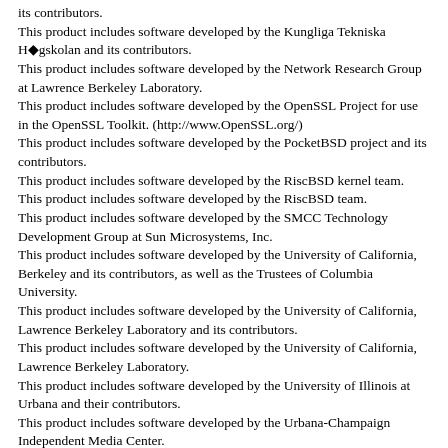its contributors.
This product includes software developed by the Kungliga Tekniska H◆gskolan and its contributors.
This product includes software developed by the Network Research Group at Lawrence Berkeley Laboratory.
This product includes software developed by the OpenSSL Project for use in the OpenSSL Toolkit. (http://www.OpenSSL.org/)
This product includes software developed by the PocketBSD project and its contributors.
This product includes software developed by the RiscBSD kernel team.
This product includes software developed by the RiscBSD team.
This product includes software developed by the SMCC Technology Development Group at Sun Microsystems, Inc.
This product includes software developed by the University of California, Berkeley and its contributors, as well as the Trustees of Columbia University.
This product includes software developed by the University of California, Lawrence Berkeley Laboratory and its contributors.
This product includes software developed by the University of California, Lawrence Berkeley Laboratory.
This product includes software developed by the University of Illinois at Urbana and their contributors.
This product includes software developed by the Urbana-Champaign Independent Media Center.
This product includes software developed by the University of Vermont and State Agricultural College and Garrett A. Wollman.
This product includes software developed by the University of Vermont and State Agricultural College and Garrett A. Wollman, by William F.